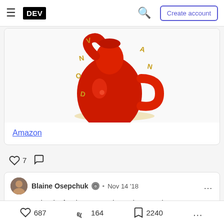DEV — Create account
[Figure (illustration): Red teapot/jug with golden Amazon-like letters scattered around it on white background]
Amazon
♡ 7  ○
Blaine Osepchuk · Nov 14 '18
Yes. Thanks for the suggestion. It is a good
687  164  2240  ...